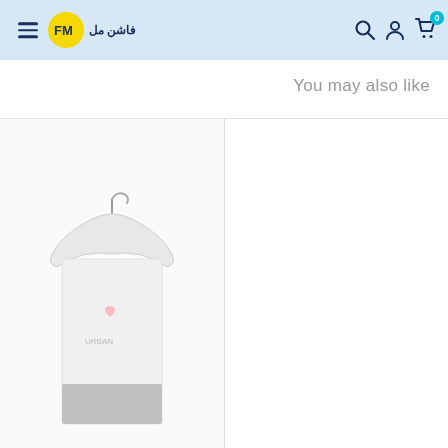Fashion Mall - فاشن مل
You may also like
[Figure (photo): Product photo of white clothing item on a hanger, with gray packaging/label, displayed on a white background]
[Figure (photo): White/blank product card area with no image loaded]